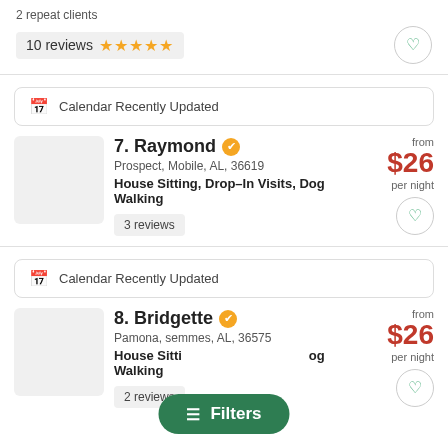2 repeat clients
10 reviews ★★★★★
Calendar Recently Updated
7. Raymond
Prospect, Mobile, AL, 36619
House Sitting, Drop–In Visits, Dog Walking
3 reviews
from $26 per night
Calendar Recently Updated
8. Bridgette
Pamona, semmes, AL, 36575
House Sitting, Drop–In Visits, Dog Walking
2 reviews
from $26 per night
Filters